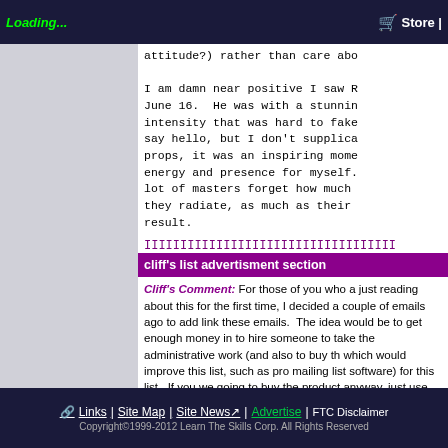Loading...   Store
attitude?) rather than care abo

I am damn near positive I saw R June 16.  He was with a stunnin intensity that was hard to fake say hello, but I don't supplica props, it was an inspiring mome energy and presence for myself. lot of masters forget how much they radiate, as much as their result.
IIIIIIIIIIIIIIIIIIIIIIIIIIIIIIIII
cliff's list advertisment section
Cliff's Comment: For those of you who a just reading about this for the first time, I decided a couple of emails ago to add link these emails.  The idea would be to get enough money in to hire someone to take the administrative work (and also to buy th which would improve this list, such as pro mailing list software) for this list.  If you we going to buy the product anyway, just use link that appears below and you are helpin keep this list going at no extra cost to any NON SEDUCTION-RELATED:
Links | Site Map | Site News | Advertise | FTC Disclaimer
Copyright©1999-2012 Learn The Skills Corp. All Rights Reserved